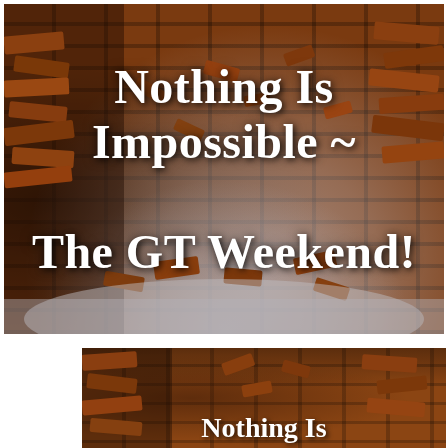[Figure (photo): Exploding brick wall with bricks scattered in mid-air, with a gray floor. Bold white serif text overlaid reading: Nothing Is Impossible ~ The GT Weekend!]
[Figure (photo): Partial view of another exploding brick wall image, cropped, with bold white serif text partially visible at the bottom reading: Nothing Is...]